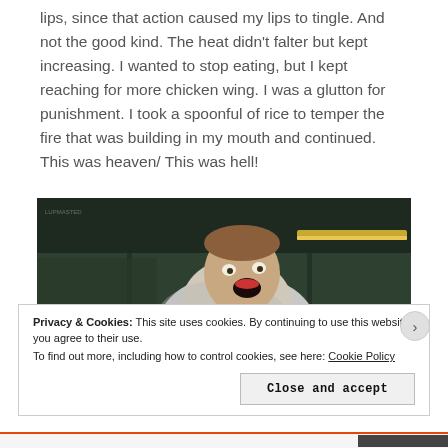lips, since that action caused my lips to tingle. And not the good kind. The heat didn't falter but kept increasing. I wanted to stop eating, but I kept reaching for more chicken wing. I was a glutton for punishment. I took a spoonful of rice to temper the fire that was building in my mouth and continued. This was heaven/ This was hell!
[Figure (screenshot): Screenshot of a man with mouth open wide, appearing to react to spicy food, wearing a white/grey shirt. Dark green background. Film/video still.]
Privacy & Cookies: This site uses cookies. By continuing to use this website, you agree to their use.
To find out more, including how to control cookies, see here: Cookie Policy
Close and accept